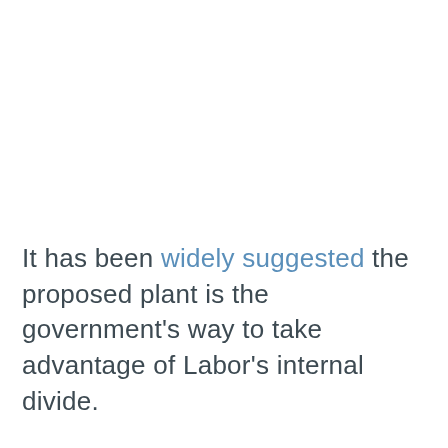It has been widely suggested the proposed plant is the government's way to take advantage of Labor's internal divide.